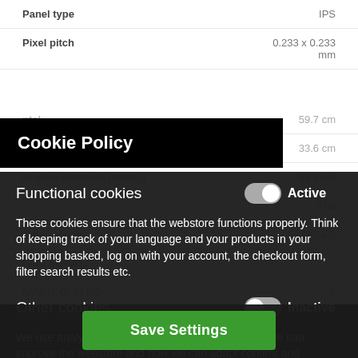| Property | Value |
| --- | --- |
| Panel type | IPS |
| Pixel pitch | 0.233 x 0.233 mm |
| Viewable size, horizontal | 59.7 cm |
| Viewable size, vertical | 33.6 cm |
| Display diagonal (metric) | 69.6 cm |
| Color bit depth | 8 bit |
| Color space | DCI-P3 |
| Ultra mobile |  |
| NVIDIA G-SYNC | Y |
| AMD FreeSync | N |
Cookie Policy
Functional cookies
Active
These cookies ensure that the webstore functions properly. Think of keeping track of your language and your products in your shopping basked, log on with your account, the checkout form, filter search results etc.
Other cookies
Inactive
We use analytical and tracking cookies to see how we can improve the webstore and how we can adapt content and potential advertisements to your preference.
Save Settings